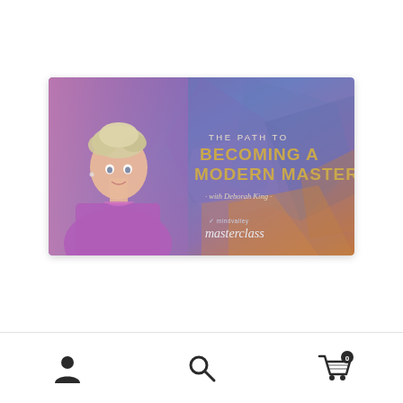[Figure (illustration): Mindvalley Masterclass promotional banner for 'The Path to Becoming a Modern Master with Deborah King'. Shows a woman with short blonde hair wearing a purple outfit on the left side, against a purple/blue geometric polygon background on the right side with gold and white text. Mindvalley masterclass logo at bottom right.]
[Figure (illustration): Bottom navigation bar with three icons: a person/user icon on the left, a search/magnifying glass icon in the center, and a shopping cart icon with a '0' badge on the right.]